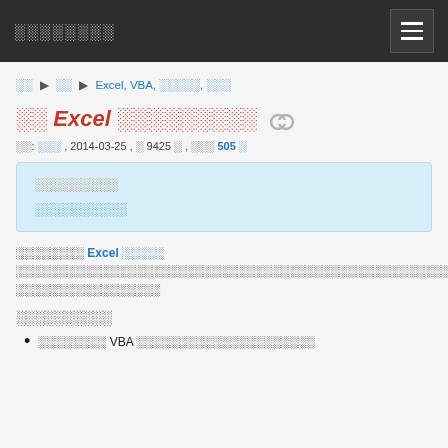░░░░░░░░
░░ ▶ ░░ ▶ Excel, VBA, ░░░░░, ░░░
░░ Excel ░░░░░░░░░
░░: ░░░ , 2014-03-25 , ░ 9425 ░ , ░░░ 505 ░
░░░░░░░░░
░░░░░░░░░░
░░░░░░░░ Excel ░░░░░ ░░░░░░░░░░░░░░░░░░░░░░░░░░░░░░░░░░░░░░░░░░░░░░░░░░░░░░░░░░░░░░░░░░░░░░░░░░░
░░░░░░░░░░
░░░░░░░░ VBA ░░░░░░░░░░░░░░░░░░░░░